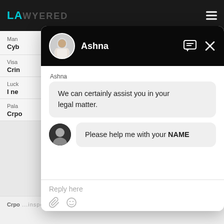[Figure (screenshot): Screenshot of a legal services website (Lawyered) with a chat popup overlay. The chat popup shows a conversation between a bot named Ashna and a user. Ashna says 'We can certainly assist you in your legal matter.' and then asks 'Please help me with your NAME'. The chat has a reply input field at the bottom with attachment and emoji icons.]
Ashna
We can certainly assist you in your legal matter.
Please help me with your NAME
Reply here